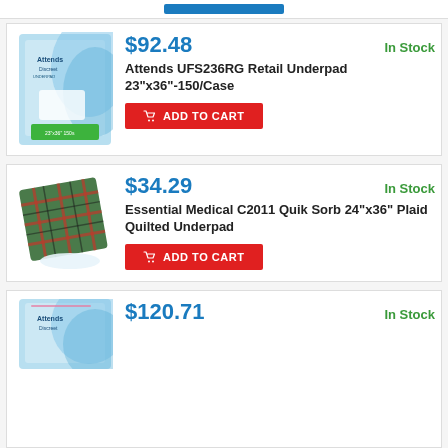[Figure (photo): Attends Discreet Underpad product box, light blue packaging]
$92.48
In Stock
Attends UFS236RG Retail Underpad 23"x36"-150/Case
[Figure (photo): Plaid quilted underpad product image, green/red/black plaid fabric square]
$34.29
In Stock
Essential Medical C2011 Quik Sorb 24"x36" Plaid Quilted Underpad
[Figure (photo): Attends Discreet Underpad product box, light blue packaging (partial view)]
$120.71
In Stock